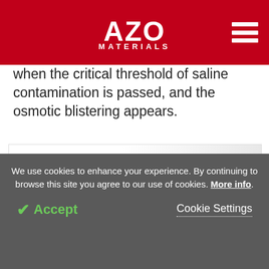AZO MATERIALS
when the critical threshold of saline contamination is passed, and the osmotic blistering appears.
[Figure (photo): Advertisement for Evident Olympus DSX1000 Digital Microscope showing the microscope device and a colorful 3D surface analysis on a monitor screen]
We use cookies to enhance your experience. By continuing to browse this site you agree to our use of cookies. More info.
✓ Accept   Cookie Settings